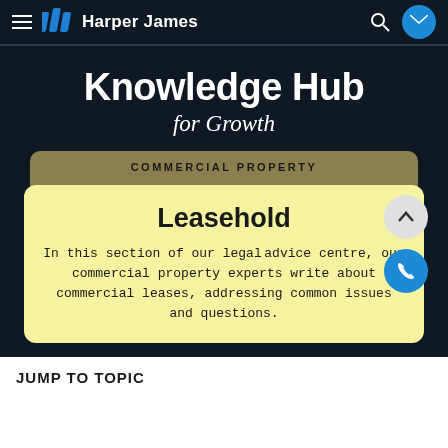Harper James
Knowledge Hub
for Growth
COMMERCIAL PROPERTY
Leasehold
In this section of our legal advice centre, our commercial property experts write about commercial leases, addressing common issues and questions.
JUMP TO TOPIC